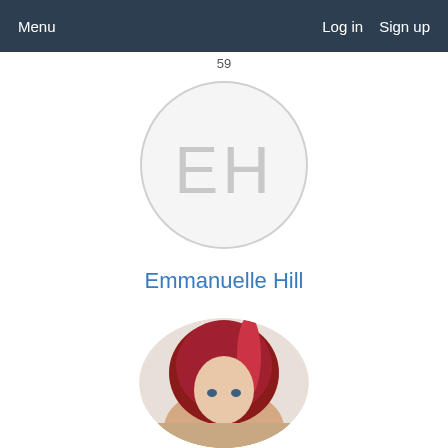Menu   Log in   Sign up
59
[Figure (illustration): Circular avatar placeholder with initials EH in light gray on a light gray circle with thin border]
Emmanuelle Hill
[Figure (photo): Circular cropped photo showing a woman with red/auburn hair, partially visible face and shoulders]